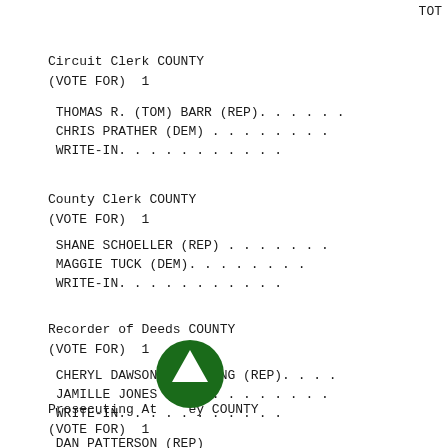TOT
Circuit Clerk COUNTY
(VOTE FOR)  1
THOMAS R. (TOM) BARR (REP). . . . . .
CHRIS PRATHER (DEM) . . . . . . . .
WRITE-IN. . . . . . . . . . . .
County Clerk COUNTY
(VOTE FOR)  1
SHANE SCHOELLER (REP) . . . . . . .
MAGGIE TUCK (DEM). . . . . . . . .
WRITE-IN. . . . . . . . . . . .
Recorder of Deeds COUNTY
(VOTE FOR)  1
CHERYL DAWSON-SPAULDING (REP). . . .
JAMILLE JONES (DEM) . . . . . . . .
WRITE-IN. . . . . . . . . . . .
Prosecuting Attorney COUNTY
(VOTE FOR)  1
DAN PATTERSON (REP)